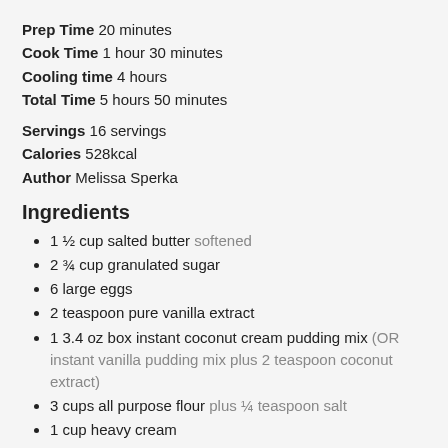Prep Time 20 minutes
Cook Time 1 hour 30 minutes
Cooling time 4 hours
Total Time 5 hours 50 minutes
Servings 16 servings
Calories 528kcal
Author Melissa Sperka
Ingredients
1 ½ cup salted butter softened
2 ¾ cup granulated sugar
6 large eggs
2 teaspoon pure vanilla extract
1 3.4 oz box instant coconut cream pudding mix (OR instant vanilla pudding mix plus 2 teaspoon coconut extract)
3 cups all purpose flour plus ¼ teaspoon salt
1 cup heavy cream
1 cup sweetened flaked coconut
Vanilla Cream Glaze:
1 cup powdered sugar